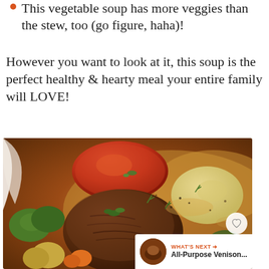This vegetable soup has more veggies than the stew, too (go figure, haha)!
However you want to look at it, this soup is the perfect healthy & hearty meal your entire family will LOVE!
[Figure (photo): Close-up photo of a hearty vegetable soup with a large chunk of braised beef, whole tomato, green peppers, potatoes, carrots, and fresh herbs in a rich broth, served in a white bowl.]